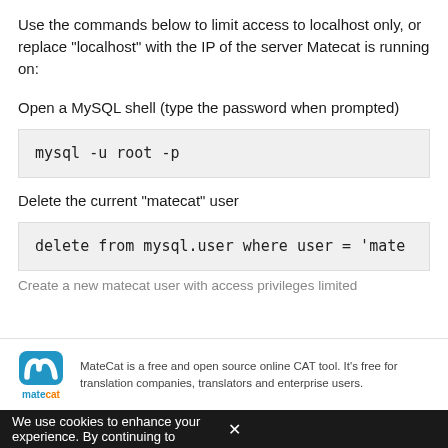Use the commands below to limit access to localhost only, or replace “localhost” with the IP of the server Matecat is running on:
Open a MySQL shell (type the password when prompted)
mysql -u root -p
Delete the current “matecat” user
delete from mysql.user where user = 'mate
Create a new matecat user with access privileges limited
MateCat is a free and open source online CAT tool. It’s free for translation companies, translators and enterprise users.
We use cookies to enhance your experience. By continuing to  ×